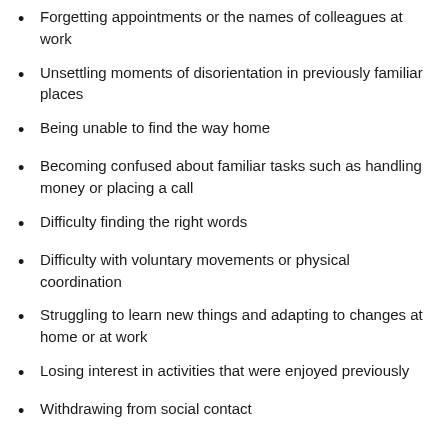Forgetting appointments or the names of colleagues at work
Unsettling moments of disorientation in previously familiar places
Being unable to find the way home
Becoming confused about familiar tasks such as handling money or placing a call
Difficulty finding the right words
Difficulty with voluntary movements or physical coordination
Struggling to learn new things and adapting to changes at home or at work
Losing interest in activities that were enjoyed previously
Withdrawing from social contact